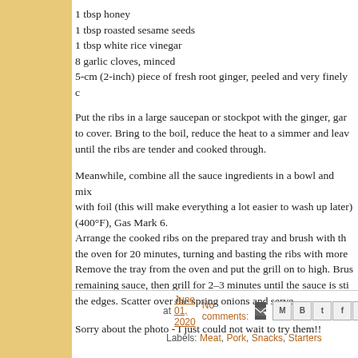1 tbsp honey
1 tbsp roasted sesame seeds
1 tbsp white rice vinegar
8 garlic cloves, minced
5-cm (2-inch) piece of fresh root ginger, peeled and very finely c
Put the ribs in a large saucepan or stockpot with the ginger, gar to cover. Bring to the boil, reduce the heat to a simmer and lea until the ribs are tender and cooked through.
Meanwhile, combine all the sauce ingredients in a bowl and mix with foil (this will make everything a lot easier to wash up later) (400°F), Gas Mark 6.
Arrange the cooked ribs on the prepared tray and brush with th the oven for 20 minutes, turning and basting the ribs with more Remove the tray from the oven and put the grill on to high. Bru remaining sauce, then grill for 2–3 minutes until the sauce is sti the edges. Scatter over the spring onions and serve.
Sorry about the photo - I just could not wait to try them!!
at June 01, 2020   No comments:   Labels: Meat, Pork, Snacks, Starters